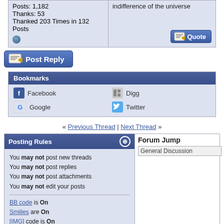Posts: 1,182
Thanks: 53
Thanked 203 Times in 132 Posts
indifference of the universe
[Figure (screenshot): Post Reply button with icon]
Bookmarks
Facebook
Digg
Google
Twitter
« Previous Thread | Next Thread »
Posting Rules
You may not post new threads
You may not post replies
You may not post attachments
You may not edit your posts
BB code is On
Smilies are On
[IMG] code is On
HTML code is On
Site Rules
Forum Jump
General Discussion
All times are GMT -4. The time now is 06:17 AM.